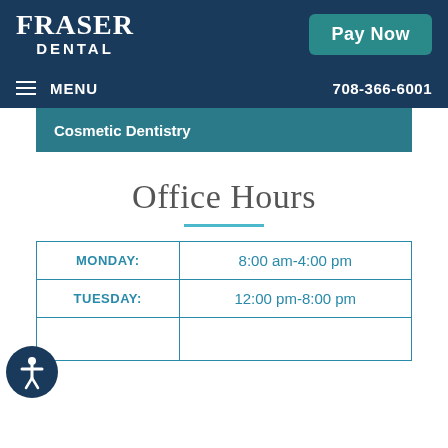FRASER DENTAL
Pay Now
MENU 708-366-6001
Cosmetic Dentistry
Office Hours
| Day | Hours |
| --- | --- |
| MONDAY: | 8:00 am-4:00 pm |
| TUESDAY: | 12:00 pm-8:00 pm |